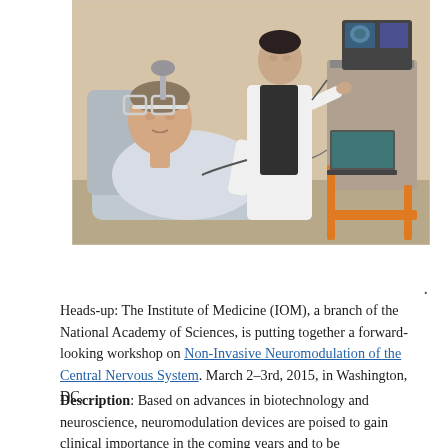[Figure (photo): A patient reclined in a chair wearing unusual eyeglass frames/device on their head, while a medical professional in a white coat stands nearby pointing at monitors displaying brain scans. Medical/neurology equipment visible in the background.]
Heads-up: The Institute of Medicine (IOM), a branch of the National Academy of Sciences, is putting together a forward-looking workshop on Non-Invasive Neuromodulation of the Central Nervous System. March 2–3rd, 2015, in Washington, DC.
Description: Based on advances in biotechnology and neuroscience, neuromodulation devices are poised to gain clinical importance in the coming years and to be